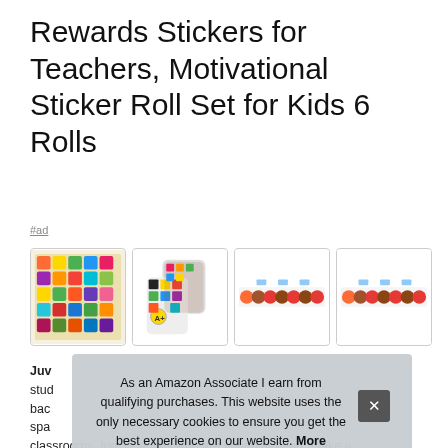Rewards Stickers for Teachers, Motivational Sticker Roll Set for Kids 6 Rolls
#ad
[Figure (photo): Four product images: sticker sheet spread, two sticker rolls, and two strips of individual stickers]
Juv... stud... bac... spa... classrooms, fun, or adults who are young at heart; make a
As an Amazon Associate I earn from qualifying purchases. This website uses the only necessary cookies to ensure you get the best experience on our website. More information